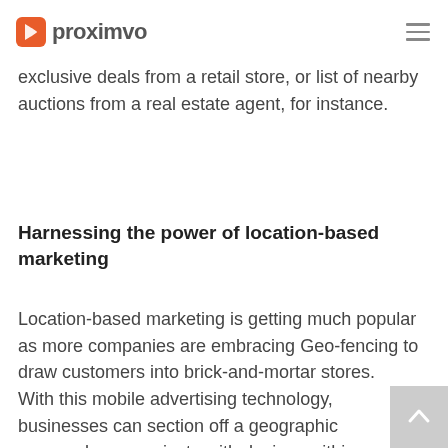proximvo
the date and time and triggers a notification to that person, offering exclusive deals from a retail store, or list of nearby auctions from a real estate agent, for instance.
Harnessing the power of location-based marketing
Location-based marketing is getting much popular as more companies are embracing Geo-fencing to draw customers into brick-and-mortar stores.
With this mobile advertising technology, businesses can section off a geographic area and communicate with devices within that space via notifications. Geo-fences can be used